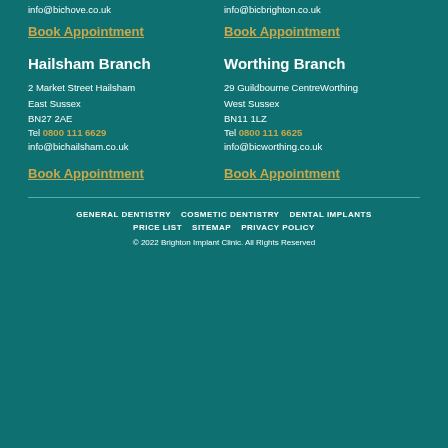info@bichove.co.uk
Book Appointment
info@bicbrighton.co.uk
Book Appointment
Hailsham Branch
2 Market Street Hailsham
East Sussex
BN27 2AE
Tel 0800 111 6629
info@bichailsham.co.uk
Book Appointment
Worthing Branch
29 Guildbourne CentreWorthing
West Sussex
BN11 1LZ
Tel 0800 111 6625
info@bicworthing.co.uk
Book Appointment
GENERAL DENTISTRY   COSMETIC DENTISTRY   DENTAL IMPLANTS
PRICE LIST   SITEMAP   PRIVACY POLICY
© 2022 Brighton Implant Clinic. All Rights Reserved